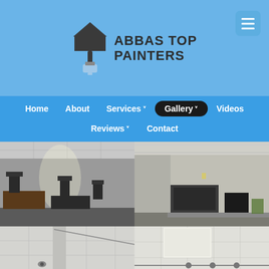[Figure (logo): Abbas Top Painters logo with paint brush icon and company name]
Home   About   Services ˅   Gallery ˅   Videos   Reviews ˅   Contact
[Figure (photo): Four photo gallery images of painted office interiors showing grey walls, desks, and ceiling tiles — two office room views on top row, two ceiling/wall corner views on bottom row]